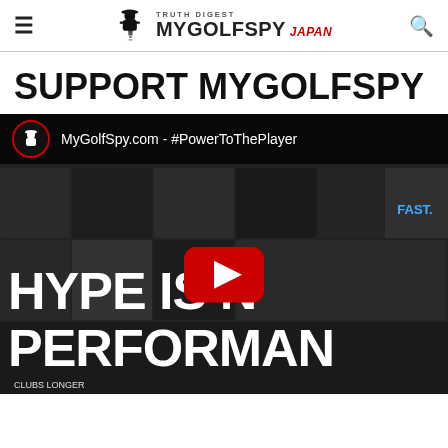TRUTH DIGEST MYGOLFSPY JAPAN
SUPPORT MYGOLFSPY
[Figure (screenshot): YouTube video thumbnail for MyGolfSpy.com - #PowerToThePlayer showing 'HYPE IS NOT PERFORMANCE' text with YouTube play button overlay]